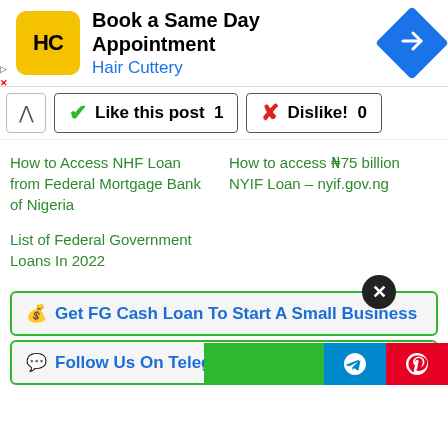[Figure (screenshot): Advertisement banner for Hair Cuttery: 'Book a Same Day Appointment' with HC logo and blue navigation arrow icon]
[Figure (screenshot): Like this post (1) and Dislike! (0) buttons with green checkmark and red X icons]
How to Access NHF Loan from Federal Mortgage Bank of Nigeria
How to access ₦75 billion NYIF Loan – nyif.gov.ng
List of Federal Government Loans In 2022
[Figure (screenshot): 💰 Get FG Cash Loan To Start A Small Business popup box with green border]
[Figure (screenshot): 💬 Follow Us On Telegram Group popup box with green border]
[Figure (screenshot): Social sharing bar with green, blue (Telegram), and red (Pinterest) buttons at bottom right]